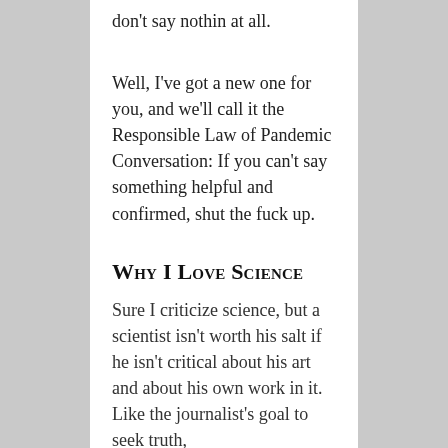don't say nothin at all.
Well, I've got a new one for you, and we'll call it the Responsible Law of Pandemic Conversation: If you can't say something helpful and confirmed, shut the fuck up.
Why I Love Science
Sure I criticize science, but a scientist isn't worth his salt if he isn't critical about his art and about his own work in it. Like the journalist's goal to seek truth,